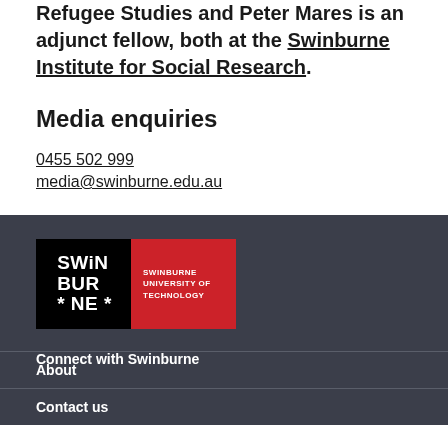Refugee Studies and Peter Mares is an adjunct fellow, both at the Swinburne Institute for Social Research.
Media enquiries
0455 502 999
media@swinburne.edu.au
[Figure (logo): Swinburne University of Technology logo — black left panel with SWINBURNE text, red right panel with SWINBURNE UNIVERSITY OF TECHNOLOGY text]
Connect with Swinburne
About
Contact us